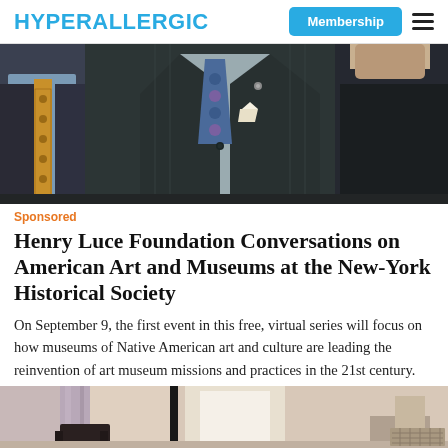HYPERALLERGIC | Membership
[Figure (photo): Three people in formal attire, left figure wearing blue shirt and gold patterned tie, center figure in dark pinstriped suit with blue patterned tie and pocket square, right figure partially visible in dark clothing.]
Sponsored
Henry Luce Foundation Conversations on American Art and Museums at the New-York Historical Society
On September 9, the first event in this free, virtual series will focus on how museums of Native American art and culture are leading the reinvention of art museum missions and practices in the 21st century.
[Figure (photo): Partial view of an interior room with curtains and furniture visible at the bottom of the page.]